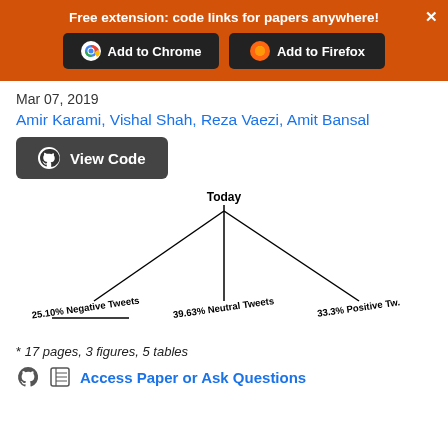Free extension: code links for papers anywhere!
Mar 07, 2019
Amir Karami, Vishal Shah, Reza Vaezi, Amit Bansal
View Code
[Figure (organizational-chart): A tree diagram with root node labeled 'Today' branching into three child nodes: '25.10% Negative Tweets', '39.63% Neutral Tweets', and '33.3% Positive Tw.' The left and right branches diverge diagonally while the center branch goes straight down.]
* 17 pages, 3 figures, 5 tables
Access Paper or Ask Questions